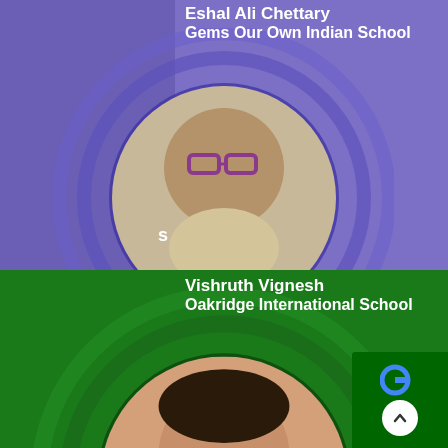Eshal Ali Chettary
Gems Our Own Indian School
[Figure (photo): Portrait photo of Eshal Ali Chettary, a child wearing glasses and a blazer, displayed in a circular frame on a purple background with concentric circle design]
Vishruth Vignesh
Oakridge International School
[Figure (photo): Portrait photo of Vishruth Vignesh, a young smiling child, displayed in a circular frame on a green background with concentric circle design]